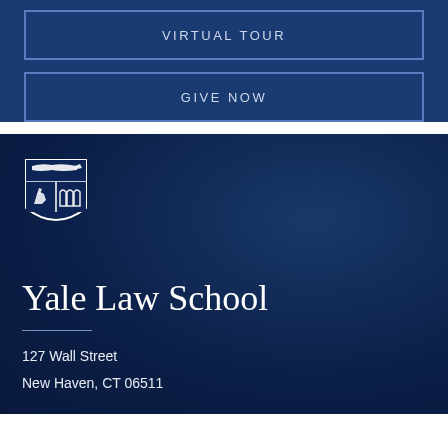VIRTUAL TOUR
GIVE NOW
[Figure (logo): Yale University shield/crest logo in white on dark blue background]
Yale Law School
127 Wall Street
New Haven, CT 06511